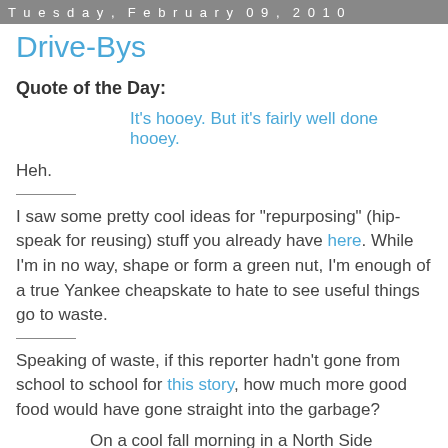Tuesday, February 09, 2010
Drive-Bys
Quote of the Day:
It's hooey. But it's fairly well done hooey.
Heh.
I saw some pretty cool ideas for "repurposing" (hip-speak for reusing) stuff you already have here. While I'm in no way, shape or form a green nut, I'm enough of a true Yankee cheapskate to hate to see useful things go to waste.
Speaking of waste, if this reporter hadn't gone from school to school for this story, how much more good food would have gone straight into the garbage?
On a cool fall morning in a North Side lunchroom, tiny Chicago Public Schools students lined up for